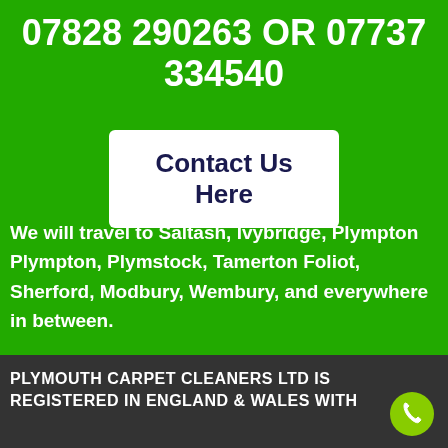07828 290263 OR 07737 334540
Contact Us Here
We will travel to Saltash, Ivybridge, Plympton Plympton, Plymstock, Tamerton Foliot, Sherford, Modbury, Wembury, and everywhere in between.
PLYMOUTH CARPET CLEANERS LTD IS REGISTERED IN ENGLAND & WALES WITH